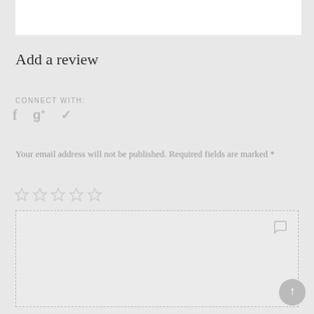Add a review
CONNECT WITH:
[Figure (other): Social media icons: Facebook (f), Google+ (g+), Twitter (bird icon)]
Your email address will not be published. Required fields are marked *
[Figure (other): Five empty star rating icons]
Your review *
[Figure (other): Scroll to top button with upward arrow]